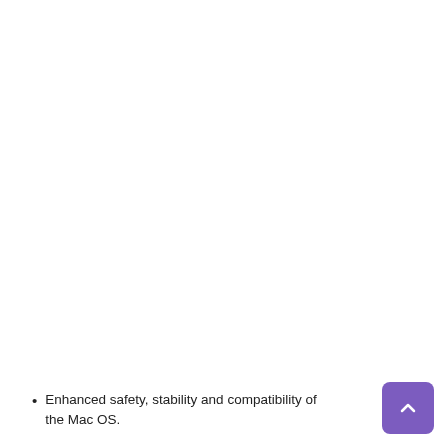Enhanced safety, stability and compatibility of the Mac OS.